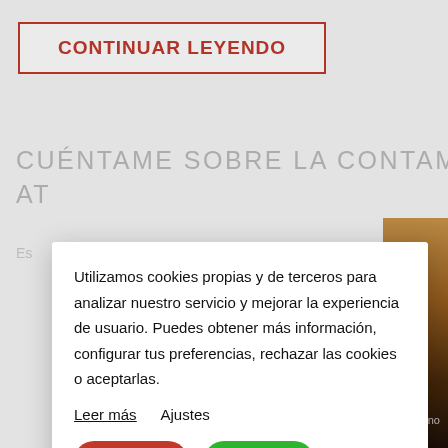[Figure (screenshot): Background webpage content showing a 'CONTINUAR LEYENDO' button in red border, and a partial article heading 'CUÉNTAME SOBRE LA CONTAMINACIÓN AT...' in light gray, with a warm-toned photo partially visible on the right]
Utilizamos cookies propias y de terceros para analizar nuestro servicio y mejorar la experiencia de usuario. Puedes obtener más información, configurar tus preferencias, rechazar las cookies o aceptarlas.
Leer más    Ajustes
Rechazar
Aceptar